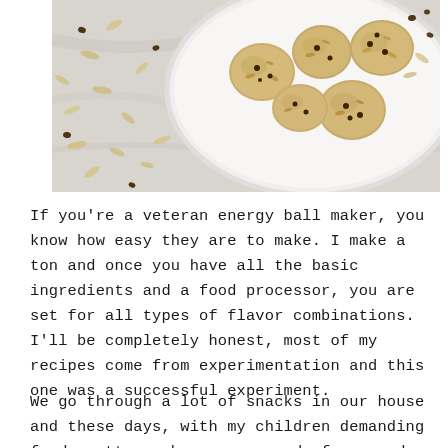[Figure (photo): Overhead view of oat energy balls with chocolate chips on a white plate, surrounded by scattered oats and chocolate chips on a marble surface.]
If you're a veteran energy ball maker, you know how easy they are to make. I make a ton and once you have all the basic ingredients and a food processor, you are set for all types of flavor combinations. I'll be completely honest, most of my recipes come from experimentation and this one was a successful experiment.
We go through a lot of snacks in our house and these days, with my children demanding food pretty much every second of every day, I do about 1/3 homemade, 1/3